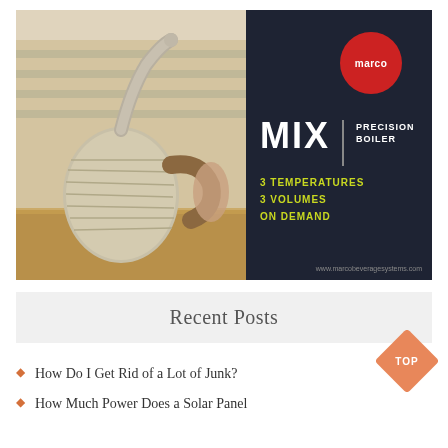[Figure (photo): Marco MIX Precision Boiler advertisement. Left half shows a stainless steel gooseneck kettle being held by a hand on a wooden surface. Right half is dark navy panel with red Marco circle logo, large white 'MIX' text beside 'PRECISION BOILER', and green-yellow text reading '3 TEMPERATURES / 3 VOLUMES / ON DEMAND'. Website URL at bottom: www.marcobeveragesystems.com]
Recent Posts
How Do I Get Rid of a Lot of Junk?
How Much Power Does a Solar Panel